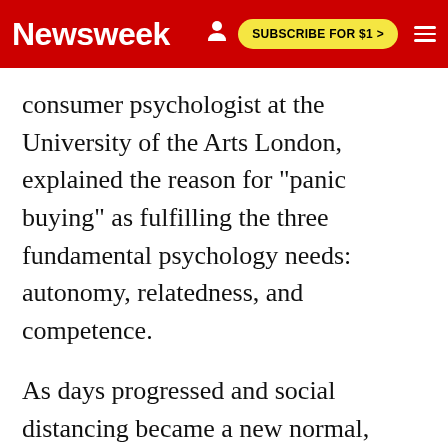Newsweek | SUBSCRIBE FOR $1 >
consumer psychologist at the University of the Arts London, explained the reason for "panic buying" as fulfilling the three fundamental psychology needs: autonomy, relatedness, and competence.
As days progressed and social distancing became a new normal, Bazaarvoice Network Data reported a 21% increase in online shopping in March 2020, as compared to last year. Soon, consumer attention shifted from essential to non-essential items.